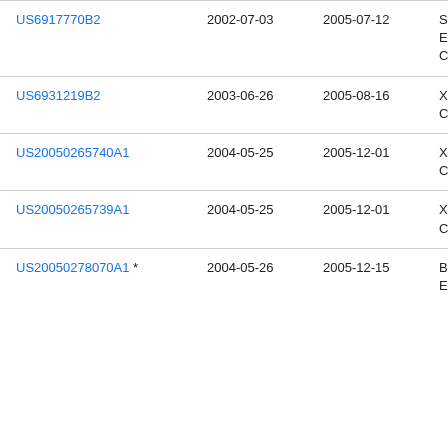| Patent Number | Filing Date | Publication Date | Assignee |
| --- | --- | --- | --- |
| US6917770B2 | 2002-07-03 | 2005-07-12 | Sam Ele Co. |
| US6931219B2 | 2003-06-26 | 2005-08-16 | Xer Cor |
| US20050265740A1 | 2004-05-25 | 2005-12-01 | Xer Cor |
| US20050265739A1 | 2004-05-25 | 2005-12-01 | Xer Cor |
| US20050278070A1 * | 2004-05-26 | 2005-12-15 | Bas E |